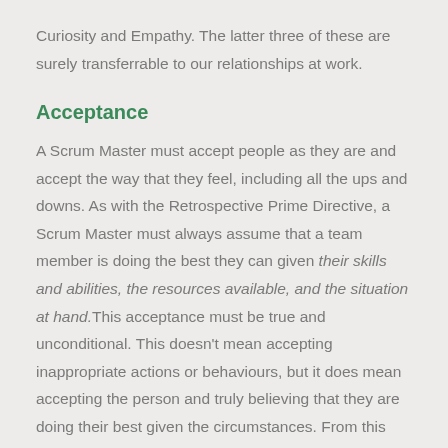Curiosity and Empathy. The latter three of these are surely transferrable to our relationships at work.
Acceptance
A Scrum Master must accept people as they are and accept the way that they feel, including all the ups and downs. As with the Retrospective Prime Directive, a Scrum Master must always assume that a team member is doing the best they can given their skills and abilities, the resources available, and the situation at hand.This acceptance must be true and unconditional. This doesn't mean accepting inappropriate actions or behaviours, but it does mean accepting the person and truly believing that they are doing their best given the circumstances. From this position, the Scrum Master can